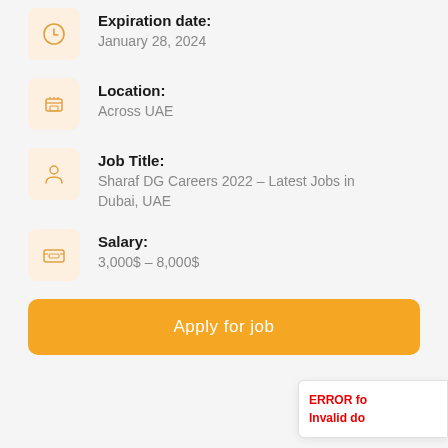Expiration date: January 28, 2024
Location: Across UAE
Job Title: Sharaf DG Careers 2022 – Latest Jobs in Dubai, UAE
Salary: 3,000$ – 8,000$
Apply for job
ERROR fo Invalid do